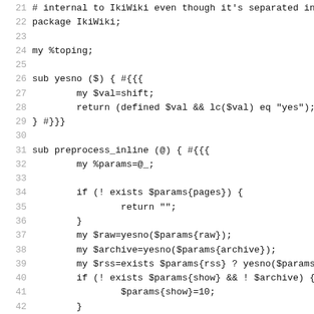Code listing lines 21-52, Perl source code for IkiWiki package, sub yesno and sub preprocess_inline functions